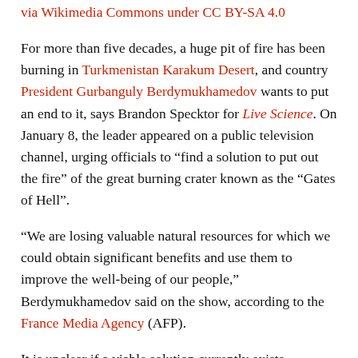via Wikimedia Commons under CC BY-SA 4.0
For more than five decades, a huge pit of fire has been burning in Turkmenistan Karakum Desert, and country President Gurbanguly Berdymukhamedov wants to put an end to it, says Brandon Specktor for Live Science. On January 8, the leader appeared on a public television channel, urging officials to “find a solution to put out the fire” of the great burning crater known as the “Gates of Hell”.
“We are losing valuable natural resources for which we could obtain significant benefits and use them to improve the well-being of our people,” Berdymukhamedov said on the show, according to the France Media Agency (AFP).
It is unclear if a viable solution currently exists. Explorer Georges Kourounis, the first man to descend to the bottom of the pit in November 2013, says Sarah Durn of Dark Atlas that even seemingly logical fixes might prove futile.